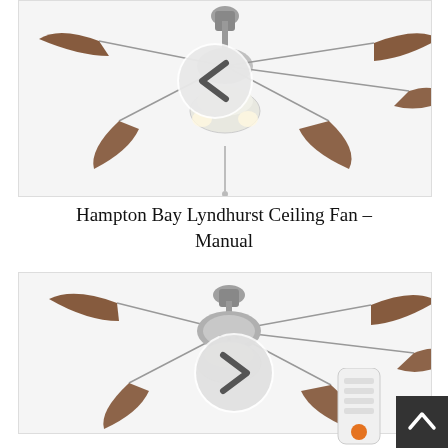[Figure (photo): Hampton Bay Lyndhurst ceiling fan with 5 dark walnut blades, brushed nickel motor housing, three-light frosted glass bowl light kit, and pull chain. Navigation arrow (left chevron) overlay button visible in center.]
Hampton Bay Lyndhurst Ceiling Fan – Manual
[Figure (photo): Hampton Bay Lyndhurst ceiling fan with 5 dark walnut blades, brushed nickel motor housing, bowl-style light kit with frosted glass. Navigation arrow (right chevron) overlay button visible in center.]
[Figure (photo): Small remote control device with white body and orange button at bottom, partially visible at lower right of page.]